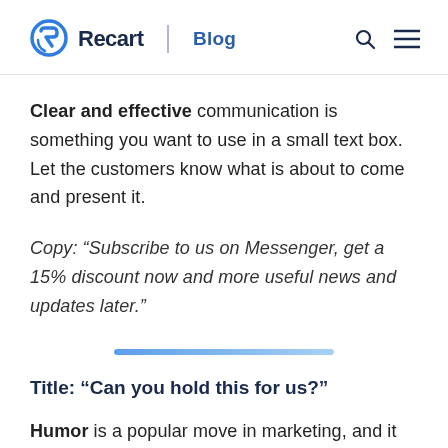Recart | Blog
Clear and effective communication is something you want to use in a small text box. Let the customers know what is about to come and present it.
Copy: “Subscribe to us on Messenger, get a 15% discount now and more useful news and updates later.”
[Figure (other): Horizontal blue gradient divider bar]
Title: “Can you hold this for us?”
Humor is a popular move in marketing, and it